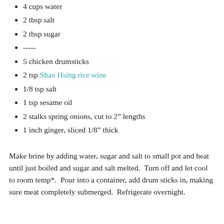4 cups water
2 tbsp salt
2 tbsp sugar
-----
5 chicken drumsticks
2 tsp Shao Hsing rice wine
1/8 tsp salt
1 tsp sesame oil
2 stalks spring onions, cut to 2" lengths
1 inch ginger, sliced 1/8" thick
Make brine by adding water, sugar and salt to small pot and heat until just boiled and sugar and salt melted.  Turn off and let cool to room temp*.  Pour into a container, add drum sticks in, making sure meat completely submerged.  Refrigerate overnight.